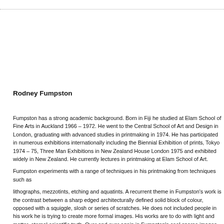Rodney Fumpston
Fumpston has a strong academic background. Born in Fiji he studied at Elam School of Fine Arts in Auckland 1966 – 1972. He went to the Central School of Art and Design in London, graduating with advanced studies in printmaking in 1974. He has participated in numerous exhibitions internationally including the Biennial Exhibition of prints, Tokyo 1974 – 75, Three Man Exhibitions in New Zealand House London 1975 and exhibited widely in New Zealand. He currently lectures in printmaking at Elam School of Art.
Fumpston experiments with a range of techniques in his printmaking from techniques such as
lithographs, mezzotints, etching and aquatints. A recurrent theme in Fumpston's work is the contrast between a sharp edged architecturally defined solid block of colour, opposed with a squiggle, slosh or series of scratches. He does not included people in his work he is trying to create more formal images. His works are to do with light and matter, eternal scientific truth. Over and over again in Fumpston's cool sparse images we find the geometric shape, the